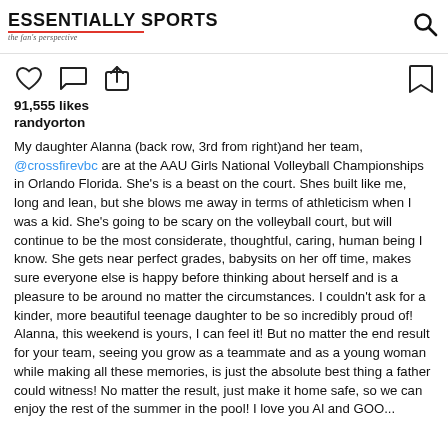ESSENTIALLY SPORTS - the fan's perspective
[Figure (infographic): Instagram action icons row: heart (like), comment bubble, share/upload arrow on left; bookmark icon on right]
91,555 likes
randyorton
My daughter Alanna (back row, 3rd from right)and her team, @crossfirevbc are at the AAU Girls National Volleyball Championships in Orlando Florida. She's is a beast on the court. Shes built like me, long and lean, but she blows me away in terms of athleticism when I was a kid. She's going to be scary on the volleyball court, but will continue to be the most considerate, thoughtful, caring, human being I know. She gets near perfect grades, babysits on her off time, makes sure everyone else is happy before thinking about herself and is a pleasure to be around no matter the circumstances. I couldn't ask for a kinder, more beautiful teenage daughter to be so incredibly proud of! Alanna, this weekend is yours, I can feel it! But no matter the end result for your team, seeing you grow as a teammate and as a young woman while making all these memories, is just the absolute best thing a father could witness! No matter the result, just make it home safe, so we can enjoy the rest of the summer in the pool! I love you Al and GOO...